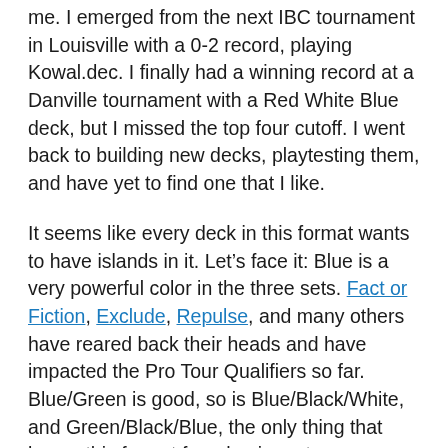me. I emerged from the next IBC tournament in Louisville with a 0-2 record, playing Kowal.dec. I finally had a winning record at a Danville tournament with a Red White Blue deck, but I missed the top four cutoff. I went back to building new decks, playtesting them, and have yet to find one that I like.
It seems like every deck in this format wants to have islands in it. Let's face it: Blue is a very powerful color in the three sets. Fact or Fiction, Exclude, Repulse, and many others have reared back their heads and have impacted the Pro Tour Qualifiers so far. Blue/Green is good, so is Blue/Black/White, and Green/Black/Blue, the only thing that keeps this format from having a true mono-blue Draw-Go Deck is the lack of a reliable two casting-cost counterspell. Had Research and Development decided to put Counterspell in the block, Turbo Chevy decks would be all the rage right now.
Fortunately, they did not. During the designing process, it